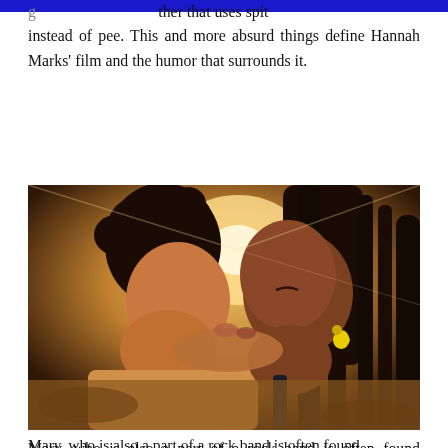ther that uses spit instead of pee. This and more absurd things define Hannah Marks' film and the humor that surrounds it.
[Figure (photo): Two people kissing closely, bathed in warm golden backlight. The person on the left has curly dark hair. The person on the right has braided hair and yellow banana-shaped earrings. Romantic, cinematic outdoor setting.]
Mary, who is also a part of a rock band is often found searching for odd, sexualized names for her band. Mark mostly hangs out with his two geeky friends who have zero social skills, but yet attract girls. Simon, Morgan and Mark are